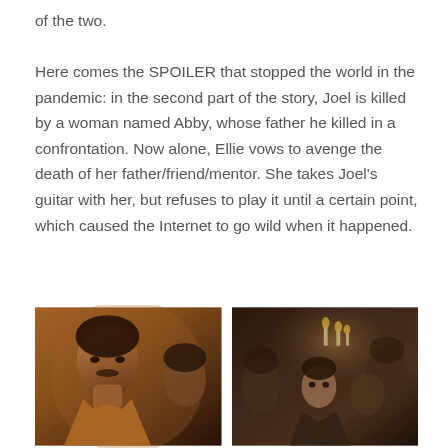of the two.

Here comes the SPOILER that stopped the world in the pandemic: in the second part of the story, Joel is killed by a woman named Abby, whose father he killed in a confrontation. Now alone, Ellie vows to avenge the death of her father/friend/mentor. She takes Joel's guitar with her, but refuses to play it until a certain point, which caused the Internet to go wild when it happened.
[Figure (photo): Two side-by-side photos. Left: a man with a mustache wearing an orange jacket (resembling Pedro Pascal). Right: a young girl with others in a dimly lit scene with candles in background.]